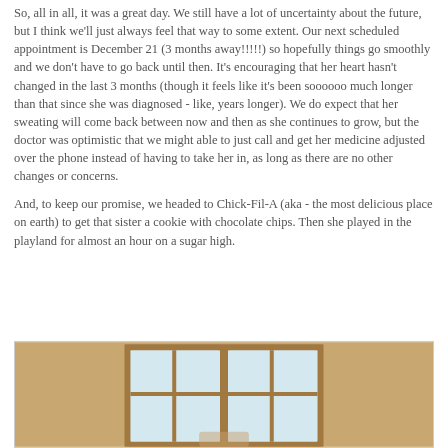So, all in all, it was a great day. We still have a lot of uncertainty about the future, but I think we'll just always feel that way to some extent. Our next scheduled appointment is December 21 (3 months away!!!!!) so hopefully things go smoothly and we don't have to go back until then. It's encouraging that her heart hasn't changed in the last 3 months (though it feels like it's been soooooo much longer than that since she was diagnosed - like, years longer). We do expect that her sweating will come back between now and then as she continues to grow, but the doctor was optimistic that we might able to just call and get her medicine adjusted over the phone instead of having to take her in, as long as there are no other changes or concerns.
And, to keep our promise, we headed to Chick-Fil-A (aka - the most delicious place on earth) to get that sister a cookie with chocolate chips. Then she played in the playland for almost an hour on a sugar high.
[Figure (photo): Photo showing what appears to be a building interior or exterior with window frames visible against a tan/beige background. The bottom portion of the image is cut off.]